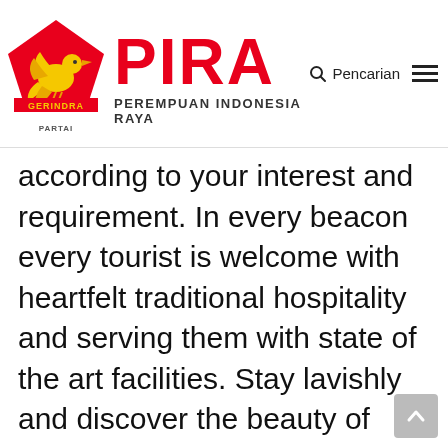[Figure (logo): PIRA - Perempuan Indonesia Raya website header with Gerindra party pentagon logo featuring golden bird, large red PIRA text, subtitle PEREMPUAN INDONESIA RAYA, search icon with Pencarian text, and hamburger menu icon]
according to your interest and requirement. In every beacon every tourist is welcome with heartfelt traditional hospitality and serving them with state of the art facilities. Stay lavishly and discover the beauty of land. Respect to the rise of the New Democratic Party, I think there is an element of a protest replica designer backpacks vote there, of people being unhappy with some of the other choices on that side of the political spectrum. The Liberal Party has a long history in Canada,